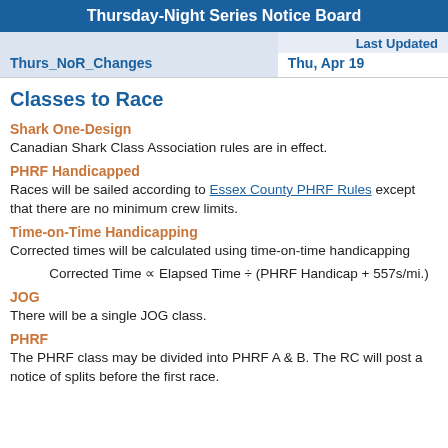Thursday-Night Series Notice Board
|  | Last Updated |
| --- | --- |
| Thurs_NoR_Changes | Thu, Apr 19 |
Classes to Race
Shark One-Design
Canadian Shark Class Association rules are in effect.
PHRF Handicapped
Races will be sailed according to Essex County PHRF Rules except that there are no minimum crew limits.
Time-on-Time Handicapping
Corrected times will be calculated using time-on-time handicapping
JOG
There will be a single JOG class.
PHRF
The PHRF class may be divided into PHRF A & B. The RC will post a notice of splits before the first race.